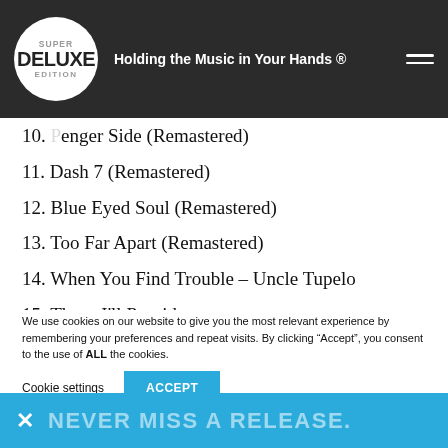Super Deluxe Edition — Holding the Music in Your Hands ®
10. [P]enger Side (Remastered)
11. Dash 7 (Remastered)
12. Blue Eyed Soul (Remastered)
13. Too Far Apart (Remastered)
14. When You Find Trouble – Uncle Tupelo
15. Those I'll Provide
16. Lost Love (Take 1 Vocal 2)
17. M[...] (partially obscured)
[Figure (infographic): Blue notification bar with X close button and text 'NEVER MISS A RELEASE.']
We use cookies on our website to give you the most relevant experience by remembering your preferences and repeat visits. By clicking "Accept", you consent to the use of ALL the cookies.
Cookie settings | ACCEPT